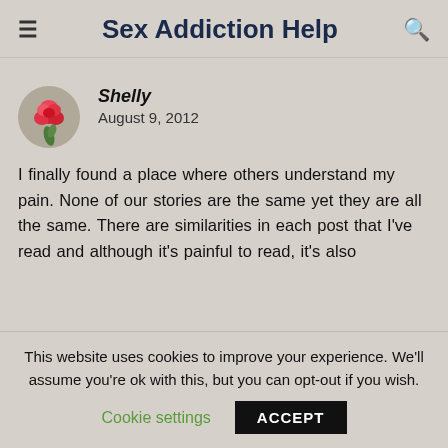Sex Addiction Help
Shelly
August 9, 2012
I finally found a place where others understand my pain. None of our stories are the same yet they are all the same. There are similarities in each post that I've read and although it's painful to read, it's also
This website uses cookies to improve your experience. We'll assume you're ok with this, but you can opt-out if you wish.
Cookie settings    ACCEPT